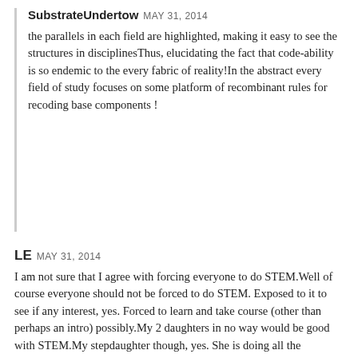SubstrateUndertow MAY 31, 2014
the parallels in each field are highlighted, making it easy to see the structures in disciplinesThus, elucidating the fact that code-ability is so endemic to the every fabric of reality!In the abstract every field of study focuses on some platform of recombinant rules for recoding base components !
LE MAY 31, 2014
I am not sure that I agree with forcing everyone to do STEM.Well of course everyone should not be forced to do STEM. Exposed to it to see if any interest, yes. Forced to learn and take course (other than perhaps an intro) possibly.My 2 daughters in no way would be good with STEM.My stepdaughter though, yes. She is doing all the